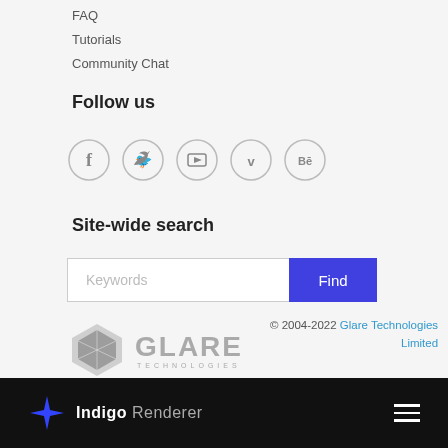FAQ
Tutorials
Community Chat
Follow us
[Figure (other): Five social media icon circles: Facebook, Twitter, YouTube, Vimeo, Behance]
Site-wide search
[Figure (other): Search bar with Keywords placeholder input and blue Find button]
[Figure (logo): Glare Technologies logo — hexagonal gem icon with GLARE TECHNOLOGIES wordmark]
© 2004-2022 Glare Technologies Limited
Indigo Renderer